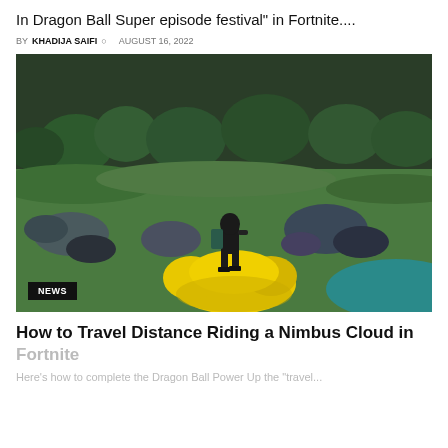In Dragon Ball Super episode festival" in Fortnite....
BY KHADIJA SAIFI  AUGUST 16, 2022
[Figure (screenshot): Fortnite gameplay screenshot showing a character riding a yellow Nimbus Cloud over a green landscape with trees and rocks]
How to Travel Distance Riding a Nimbus Cloud in Fortnite
Here's how to complete the Dragon Ball Power Up the "travel...